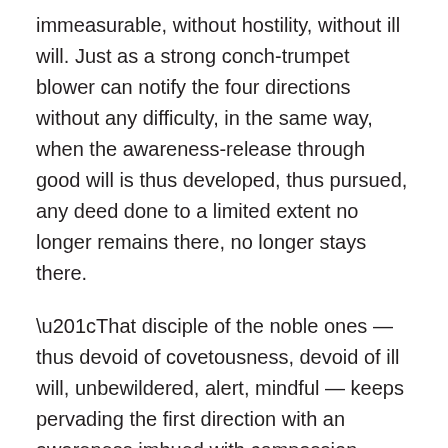immeasurable, without hostility, without ill will. Just as a strong conch-trumpet blower can notify the four directions without any difficulty, in the same way, when the awareness-release through good will is thus developed, thus pursued, any deed done to a limited extent no longer remains there, no longer stays there.
“That disciple of the noble ones — thus devoid of covetousness, devoid of ill will, unbewildered, alert, mindful — keeps pervading the first direction with an awareness imbued with compassion… appreciation… equanimity, likewise the second, likewise the third, likewise the fourth. Thus above, below, & all around, everywhere, in its entirety, he keeps pervading the all-encompassing cosmos with an awareness imbued with equanimity — abundant, expansive, immeasurable, without hostility, without ill will. Just as a strong conch-trumpet blower can